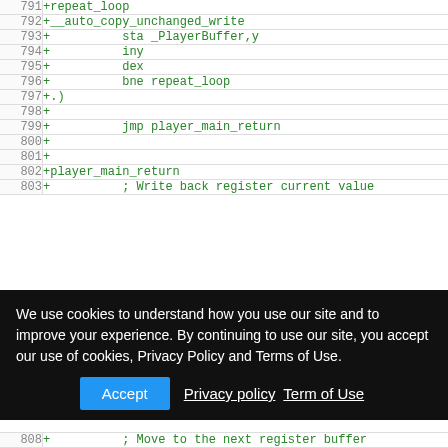| line | code |
| --- | --- |
| 791 | +repeat_loop |
| 792 | +__auto_copy_unchanged_write |
| 793 | +          sta _PlayerBuffer,y |
| 794 | +          iny |
| 795 | +          dex |
| 796 | +          bne repeat_loop |
| 797 | +.) |
| 798 | + |
| 799 | +          jmp player_main_return |
| 800 | + |
| 801 | + |
| 802 | +player_main_return |
| 803 | +          ; Write back register current value |
| 808 | +          ; Move to the next register buffer |
We use cookies to understand how you use our site and to improve your experience. By continuing to use our site, you accept our use of cookies, Privacy Policy and Terms of Use. Accept Privacy policy Term of Use